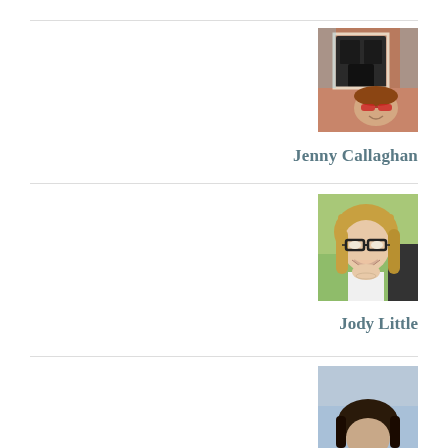[Figure (photo): Photo of Jenny Callaghan standing in front of a brick building with dark windows, wearing red sunglasses]
Jenny Callaghan
[Figure (photo): Photo of Jody Little, a woman with blonde hair and glasses, smiling outdoors]
Jody Little
[Figure (photo): Partial photo of a third person, cropped at page bottom]